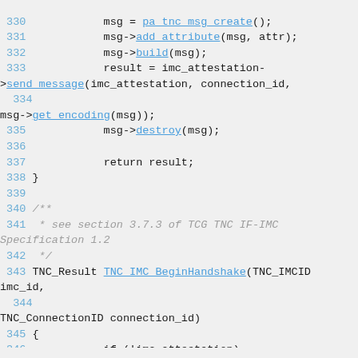[Figure (screenshot): Source code listing showing C code lines 330-348 with syntax highlighting. Line numbers in blue, function names underlined in blue, string literals highlighted in pink/magenta, comments in gray italic.]